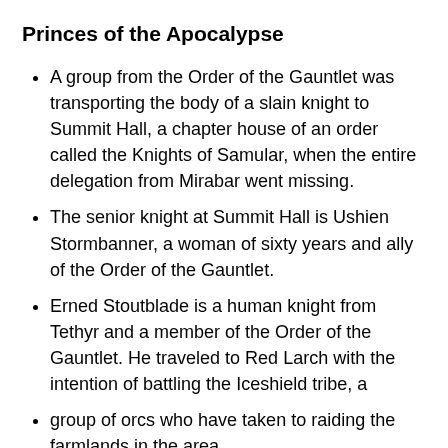Princes of the Apocalypse
A group from the Order of the Gauntlet was transporting the body of a slain knight to Summit Hall, a chapter house of an order called the Knights of Samular, when the entire delegation from Mirabar went missing.
The senior knight at Summit Hall is Ushien Stormbanner, a woman of sixty years and ally of the Order of the Gauntlet.
Erned Stoutblade is a human knight from Tethyr and a member of the Order of the Gauntlet. He traveled to Red Larch with the intention of battling the Iceshield tribe, a
group of orcs who have taken to raiding the farmlands in the area.
The Order is attempting to establish alliances